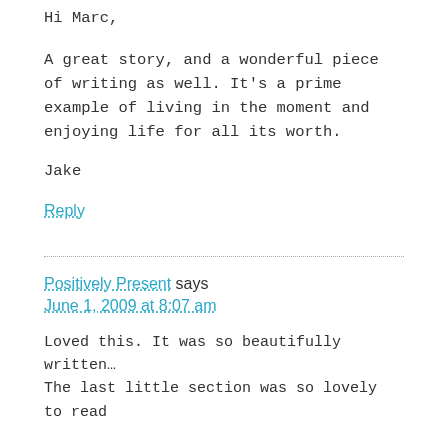Hi Marc,
A great story, and a wonderful piece of writing as well. It's a prime example of living in the moment and enjoying life for all its worth.
Jake
Reply
Positively Present says
June 1, 2009 at 8:07 am
Loved this. It was so beautifully written… The last little section was so lovely to read